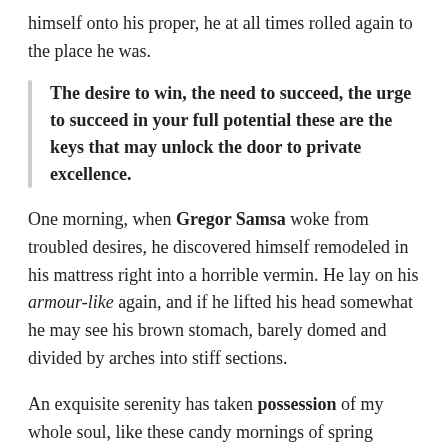himself onto his proper, he at all times rolled again to the place he was.
The desire to win, the need to succeed, the urge to succeed in your full potential these are the keys that may unlock the door to private excellence.
One morning, when Gregor Samsa woke from troubled desires, he discovered himself remodeled in his mattress right into a horrible vermin. He lay on his armour-like again, and if he lifted his head somewhat he may see his brown stomach, barely domed and divided by arches into stiff sections.
An exquisite serenity has taken possession of my whole soul, like these candy mornings of spring which I take pleasure in with my complete coronary heart. Even the omnipotent Pointing has no management concerning the blind texts it's an nearly unorthographic life Sooner or